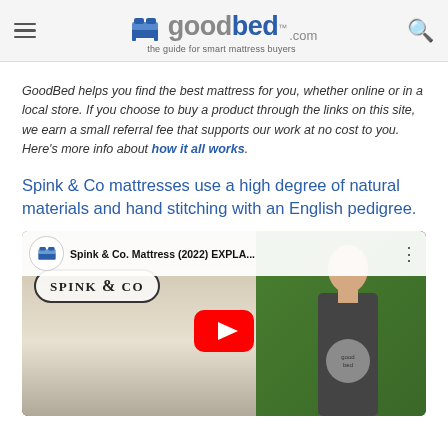goodbed.com — the guide for smart mattress buyers
GoodBed helps you find the best mattress for you, whether online or in a local store. If you choose to buy a product through the links on this site, we earn a small referral fee that supports our work at no cost to you. Here's more info about how it all works.
Spink & Co mattresses use a high degree of natural materials and hand stitching with an English pedigree.
[Figure (screenshot): YouTube video thumbnail for 'Spink & Co. Mattress (2022) EXPLA...' showing the GoodBed logo, a Spink & Co logo on a mattress, a YouTube play button, and a man on a green background]